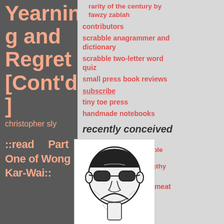Yearning and Regret [Cont'd]
christopher sly
::read Part One of Wong Kar-Wai::
rarity of the century by fawzy zablah
contributors
scrabble anagrammer and dictionary
scrabble two-letter word quiz
small press book reviews
subscribe
tiny toe press
handmade notebooks
recently conceived
"small is beautiful: economics as if people mattered" by e. f. schumacher :: a lengthy excerpt
the economics of the meat industry
how to die
2020 art consumed
the chase
[Figure (illustration): Black and white line drawing illustration of a man wearing sunglasses, with stylized facial features, appearing to be laughing or grinning]